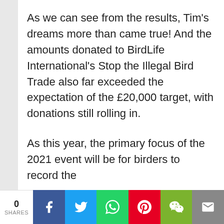As we can see from the results, Tim's dreams more than came true! And the amounts donated to BirdLife International's Stop the Illegal Bird Trade also far exceeded the expectation of the £20,000 target, with donations still rolling in.
As this year, the primary focus of the 2021 event will be for birders to record the
We use cookies to give you the best service on our site. By continuing to use the site you consent to our Privacy Policy.
Read More
ACCEPT
0 SHARES  [Facebook] [Twitter] [WhatsApp] [Pinterest] [WeChat] [Email]